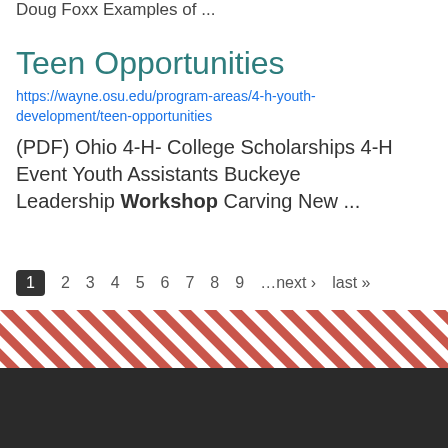Doug Foxx Examples of ...
Teen Opportunities
https://wayne.osu.edu/program-areas/4-h-youth-development/teen-opportunities
(PDF) Ohio 4-H- College Scholarships 4-H Event Youth Assistants Buckeye Leadership Workshop Carving New ...
1 2 3 4 5 6 7 8 9 …next › last »
[Figure (other): Diagonal red and white striped decorative band followed by a dark footer area]